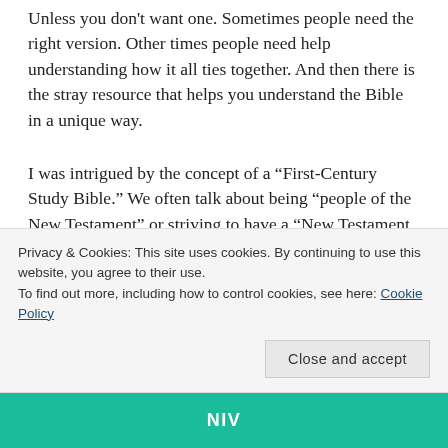Unless you don't want one. Sometimes people need the right version. Other times people need help understanding how it all ties together. And then there is the stray resource that helps you understand the Bible in a unique way.
I was intrigued by the concept of a “First-Century Study Bible.” We often talk about being “people of the New Testament” or striving to have a “New Testament church”. Yet we forget how far we’re removed from that time and culture. Even those statements are made from the perspective of the
Privacy & Cookies: This site uses cookies. By continuing to use this website, you agree to their use.
To find out more, including how to control cookies, see here: Cookie Policy
Close and accept
[Figure (other): Teal/green bar at bottom with 'NIV' text in white]